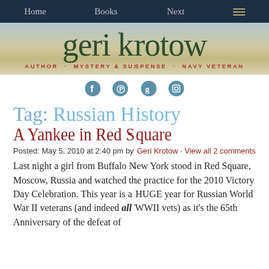Home  Books  Next
[Figure (logo): Geri Krotow author website header banner with site title 'geri krotow' in large green serif font and subtitle 'AUTHOR · MYSTERY & SUSPENSE · NAVY VETERAN' in red]
[Figure (infographic): Four social media icons: Facebook, Pinterest, Goodreads, Instagram]
Tag: Russian History
A Yankee in Red Square
Posted: May 5, 2010 at 2:40 pm by Geri Krotow · View all 2 comments
Last night a girl from Buffalo New York stood in Red Square, Moscow, Russia and watched the practice for the 2010 Victory Day Celebration. This year is a HUGE year for Russian World War II veterans (and indeed all WWII vets) as it's the 65th Anniversary of the defeat of